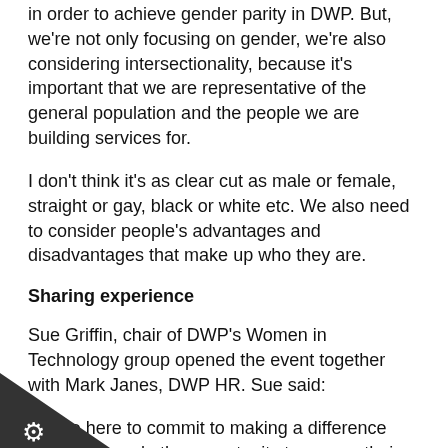in order to achieve gender parity in DWP. But, we're not only focusing on gender, we're also considering intersectionality, because it's important that we are representative of the general population and the people we are building services for.
I don't think it's as clear cut as male or female, straight or gay, black or white etc. We also need to consider people's advantages and disadvantages that make up who they are.
Sharing experience
Sue Griffin, chair of DWP's Women in Technology group opened the event together with Mark Janes, DWP HR. Sue said:
“We’re here to commit to making a difference and give people the opportunity to pursue their dreams.”
In her role Sue champions opportunities for females in a male-dominated environment, particularly young females and encourages more women into technology and digital